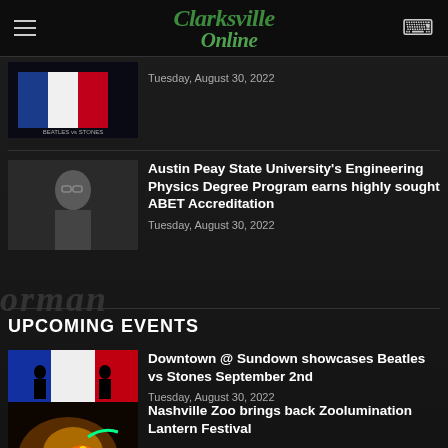Clarksville Online
[Figure (screenshot): Beatles vs Stones event poster thumbnail]
Tuesday, August 30, 2022
[Figure (photo): Man with glasses in a technical setting — Austin Peay engineering student or faculty]
Austin Peay State University's Engineering Physics Degree Program earns highly sought ABET Accreditation
Tuesday, August 30, 2022
UPCOMING EVENTS
[Figure (screenshot): Beatles vs Stones silhouette event poster]
Downtown @ Sundown showcases Beatles vs Stones September 2nd
Tuesday, August 30, 2022
[Figure (photo): Nashville Zoo dragon lantern festival image]
Nashville Zoo brings back Zoolumination Lantern Festival